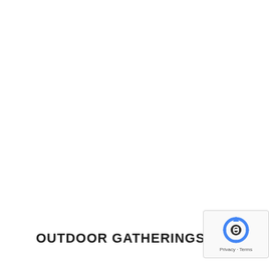OUTDOOR GATHERINGS
[Figure (logo): reCAPTCHA badge with rotating arrows logo icon and Privacy - Terms links]